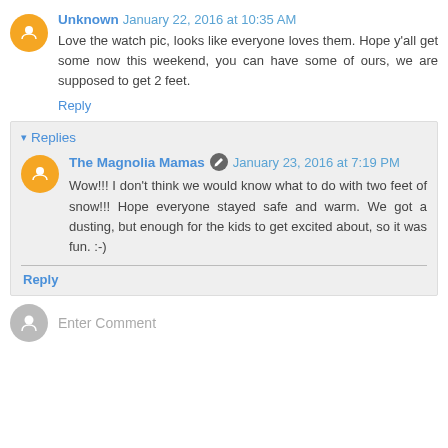Unknown January 22, 2016 at 10:35 AM
Love the watch pic, looks like everyone loves them. Hope y'all get some now this weekend, you can have some of ours, we are supposed to get 2 feet.
Reply
Replies
The Magnolia Mamas January 23, 2016 at 7:19 PM
Wow!!! I don't think we would know what to do with two feet of snow!!! Hope everyone stayed safe and warm. We got a dusting, but enough for the kids to get excited about, so it was fun. :-)
Reply
Enter Comment